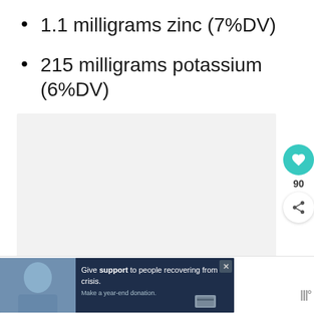1.1 milligrams zinc (7%DV)
215 milligrams potassium (6%DV)
0.1 milligrams vitamin B6 (5%DV)
[Figure (other): Grey content placeholder box with loading dots, social sidebar with heart button (90 likes) and share button, and What's Next panel showing Healthy Plant Based...]
[Figure (other): Advertisement banner: Give support to people recovering from crisis. Make a year-end donation.]